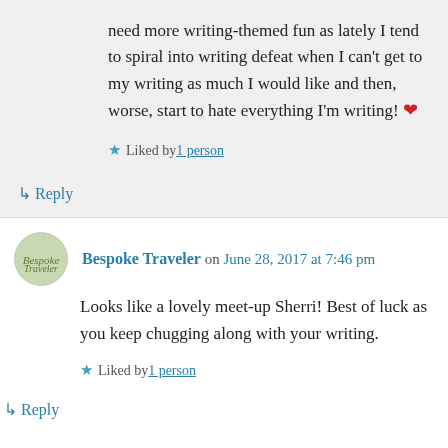need more writing-themed fun as lately I tend to spiral into writing defeat when I can't get to my writing as much I would like and then, worse, start to hate everything I'm writing! ❤
Liked by 1 person
↳ Reply
Bespoke Traveler on June 28, 2017 at 7:46 pm
Looks like a lovely meet-up Sherri! Best of luck as you keep chugging along with your writing.
Liked by 1 person
↳ Reply